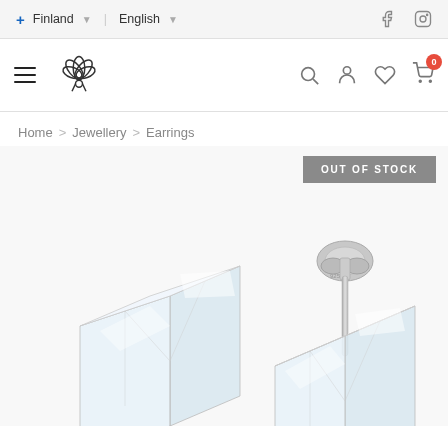Finland | English | Facebook | Instagram
[Figure (logo): Lotus flower logo with hamburger menu icon on the left]
Home > Jewellery > Earrings
OUT OF STOCK
[Figure (photo): Two crystal cube stud earrings with silver posts and butterfly backs on white background]